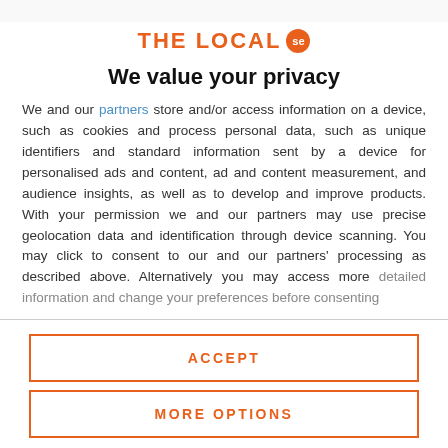[Figure (logo): The Local SE logo with orange text and orange circular badge with 'se']
We value your privacy
We and our partners store and/or access information on a device, such as cookies and process personal data, such as unique identifiers and standard information sent by a device for personalised ads and content, ad and content measurement, and audience insights, as well as to develop and improve products. With your permission we and our partners may use precise geolocation data and identification through device scanning. You may click to consent to our and our partners' processing as described above. Alternatively you may access more detailed information and change your preferences before consenting
ACCEPT
MORE OPTIONS
Establishments were able to apply for one-off